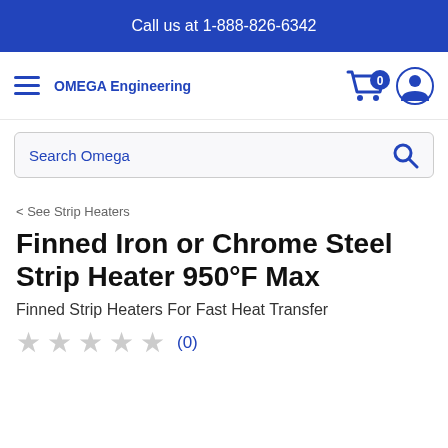Call us at 1-888-826-6342
[Figure (logo): OMEGA Engineering logo with hamburger menu, cart icon with 0 items, and user account icon]
[Figure (screenshot): Search Omega search bar with magnifying glass icon]
< See Strip Heaters
Finned Iron or Chrome Steel Strip Heater 950°F Max
Finned Strip Heaters For Fast Heat Transfer
★★★★★ (0)